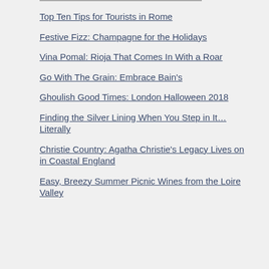Top Ten Tips for Tourists in Rome
Festive Fizz: Champagne for the Holidays
Vina Pomal: Rioja That Comes In With a Roar
Go With The Grain: Embrace Bain's
Ghoulish Good Times: London Halloween 2018
Finding the Silver Lining When You Step in It…Literally
Christie Country: Agatha Christie's Legacy Lives on in Coastal England
Easy, Breezy Summer Picnic Wines from the Loire Valley